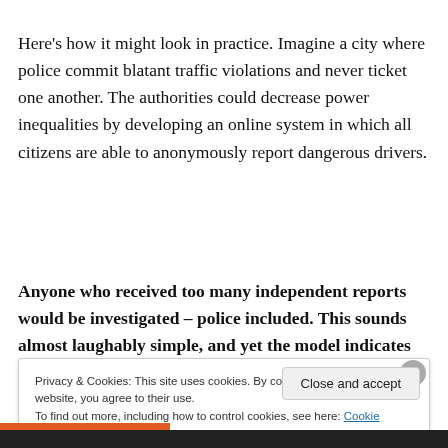Here’s how it might look in practice. Imagine a city where police commit blatant traffic violations and never ticket one another. The authorities could decrease power inequalities by developing an online system in which all citizens are able to anonymously report dangerous drivers.
Anyone who received too many independent reports would be investigated – police included. This sounds almost laughably simple, and yet the model indicates
Privacy & Cookies: This site uses cookies. By continuing to use this website, you agree to their use.
To find out more, including how to control cookies, see here: Cookie Policy